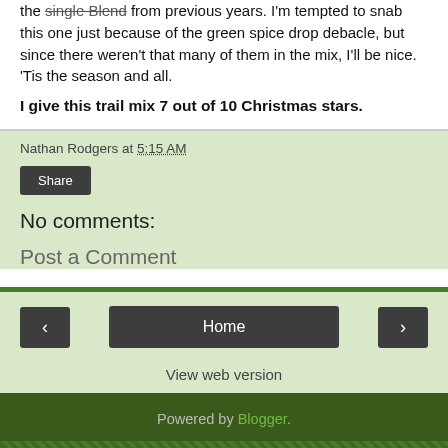the single Blend from previous years. I'm tempted to snab this one just because of the green spice drop debacle, but since there weren't that many of them in the mix, I'll be nice. 'Tis the season and all.
I give this trail mix 7 out of 10 Christmas stars.
Nathan Rodgers at 5:15 AM
Share
No comments:
Post a Comment
Powered by Blogger.